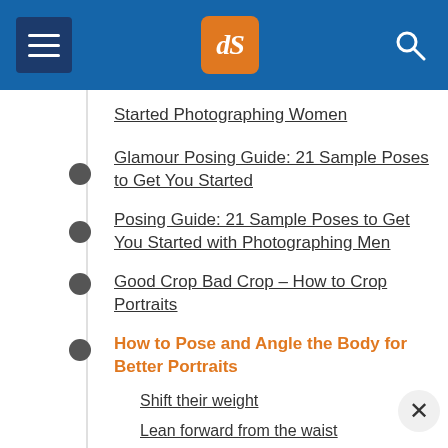dPS navigation header
Started Photographing Women
Glamour Posing Guide: 21 Sample Poses to Get You Started
Posing Guide: 21 Sample Poses to Get You Started with Photographing Men
Good Crop Bad Crop – How to Crop Portraits
How to Pose and Angle the Body for Better Portraits
Shift their weight
Lean forward from the waist
Weight on the back leg